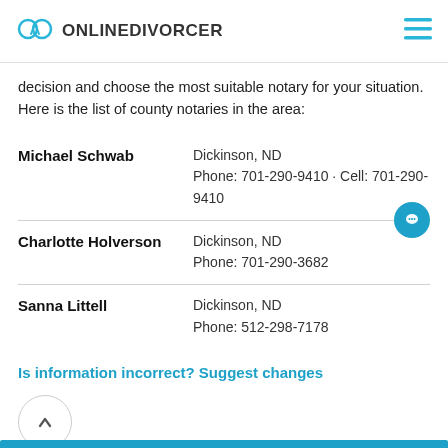ONLINEDIVORCER
decision and choose the most suitable notary for your situation. Here is the list of county notaries in the area:
Michael Schwab — Dickinson, ND Phone: 701-290-9410 · Cell: 701-290-9410
Charlotte Holverson — Dickinson, ND Phone: 701-290-3682
Sanna Littell — Dickinson, ND Phone: 512-298-7178
Is information incorrect? Suggest changes